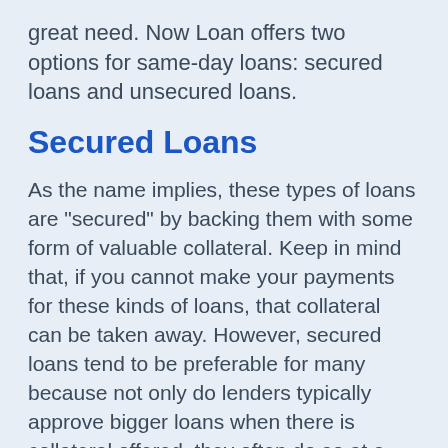great need. Now Loan offers two options for same-day loans: secured loans and unsecured loans.
Secured Loans
As the name implies, these types of loans are "secured" by backing them with some form of valuable collateral. Keep in mind that, if you cannot make your payments for these kinds of loans, that collateral can be taken away. However, secured loans tend to be preferable for many because not only do lenders typically approve bigger loans when there is collateral offered, they often do so at a much lower interest rate.